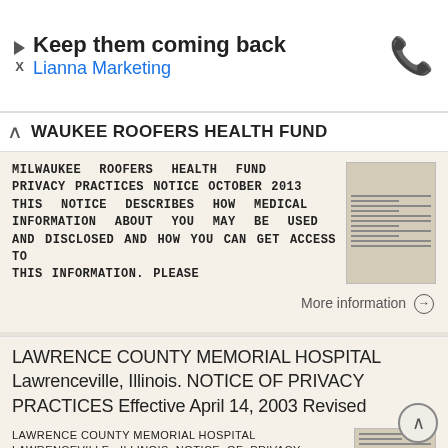[Figure (screenshot): Advertisement banner: 'Keep them coming back' with subtitle 'Lianna Marketing' and phone icon, with close/play icons on left]
WAUKEE ROOFERS HEALTH FUND
MILWAUKEE ROOFERS HEALTH FUND PRIVACY PRACTICES NOTICE October 2013 THIS NOTICE DESCRIBES HOW MEDICAL INFORMATION ABOUT YOU MAY BE USED AND DISCLOSED AND HOW YOU CAN GET ACCESS TO THIS INFORMATION. PLEASE
More information →
LAWRENCE COUNTY MEMORIAL HOSPITAL Lawrenceville, Illinois. NOTICE OF PRIVACY PRACTICES Effective April 14, 2003 Revised
LAWRENCE COUNTY MEMORIAL HOSPITAL Lawrenceville, Illinois NOTICE OF PRIVACY